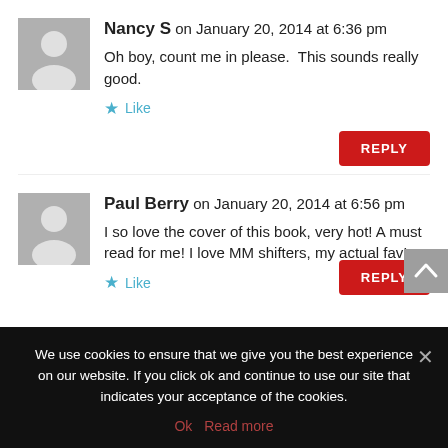Nancy S on January 20, 2014 at 6:36 pm
Oh boy, count me in please.  This sounds really good.
Like
REPLY
Paul Berry on January 20, 2014 at 6:56 pm
I so love the cover of this book, very hot! A must read for me! I love MM shifters, my actual fav!
Like
REPLY
We use cookies to ensure that we give you the best experience on our website. If you click ok and continue to use our site that indicates your acceptance of the cookies.
Ok   Read more